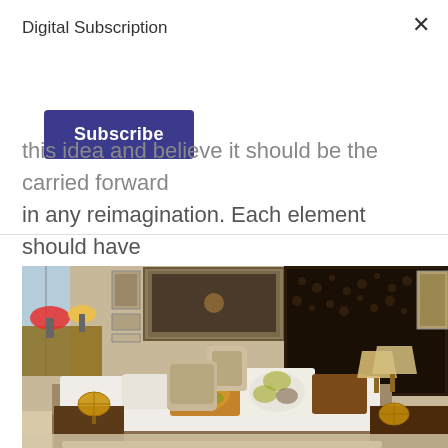Digital Subscription
Subscribe
this idea and believe it should be the carried forward in any reimagination. Each element should have clean lines. They should balance, and not dominate.
[Figure (photo): Interior bedroom photo showing a modern bedroom with a low-profile bed with white bedding and decorative pillows, a dark textured wall art panel behind the headboard, bedside lamps with gold orb decorations, and a sitting area with armchair visible to the left. Warm tones with brown and cream color palette.]